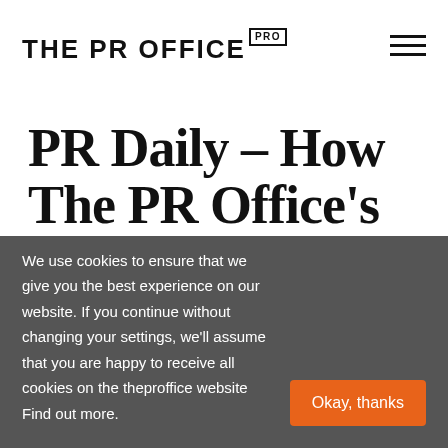THE PR OFFICE PRO
PR Daily – How The PR Office’s Shimon Cohen takes the
We use cookies to ensure that we give you the best experience on our website. If you continue without changing your settings, we'll assume that you are happy to receive all cookies on the theproffice website Find out more.